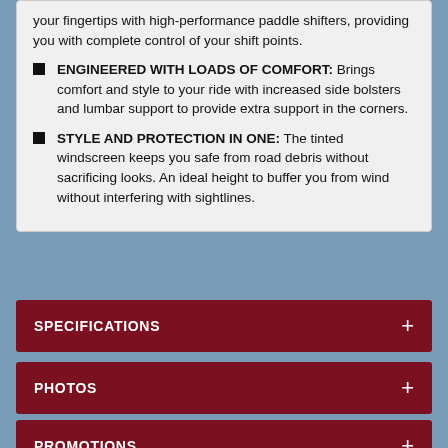your fingertips with high-performance paddle shifters, providing you with complete control of your shift points.
ENGINEERED WITH LOADS OF COMFORT: Brings comfort and style to your ride with increased side bolsters and lumbar support to provide extra support in the corners.
STYLE AND PROTECTION IN ONE: The tinted windscreen keeps you safe from road debris without sacrificing looks. An ideal height to buffer you from wind without interfering with sightlines.
SPECIFICATIONS
PHOTOS
PROMOTIONS